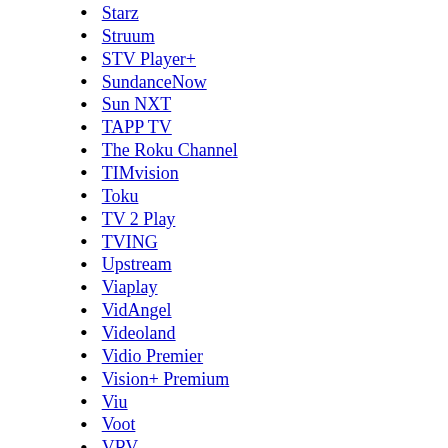Starz
Struum
STV Player+
SundanceNow
Sun NXT
TAPP TV
The Roku Channel
TIMvision
Toku
TV 2 Play
TVING
Upstream
Viaplay
VidAngel
Videoland
Vidio Premier
Vision+ Premium
Viu
Voot
VRV
VVVVID
ViX+
Wakanim
XITE
Yippee TV